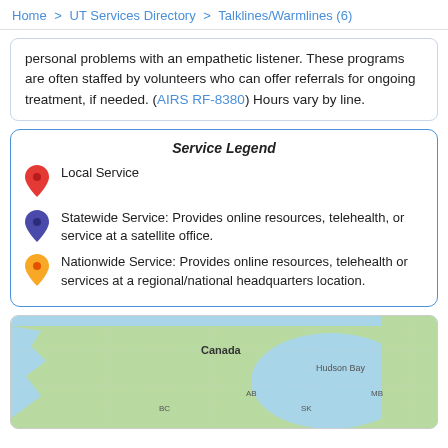Home > UT Services Directory > Talklines/Warmlines (6)
personal problems with an empathetic listener. These programs are often staffed by volunteers who can offer referrals for ongoing treatment, if needed. (AIRS RF-8380) Hours vary by line.
Service Legend
Local Service
Statewide Service: Provides online resources, telehealth, or service at a satellite office.
Nationwide Service: Provides online resources, telehealth or services at a regional/national headquarters location.
[Figure (map): Google Map showing Canada with labels for Hudson Bay, AB, BC, SK, MB provinces]